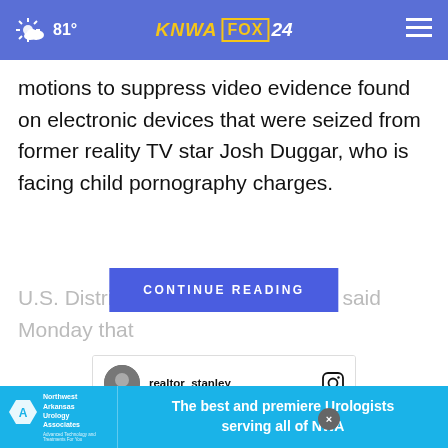81° KNWA FOX 24
motions to suppress video evidence found on electronic devices that were seized from former reality TV star Josh Duggar, who is facing child pornography charges.
CONTINUE READING
U.S. District Ju... so said Monday that ...
[Figure (screenshot): Instagram card for realtor_stanley showing a profile picture, username, Instagram icon, and a dark banner with text ZACH STANLEY]
[Figure (logo): Northwest Arkansas Urology Associates advertisement banner: The best and premiere Urologists serving all of NWA]